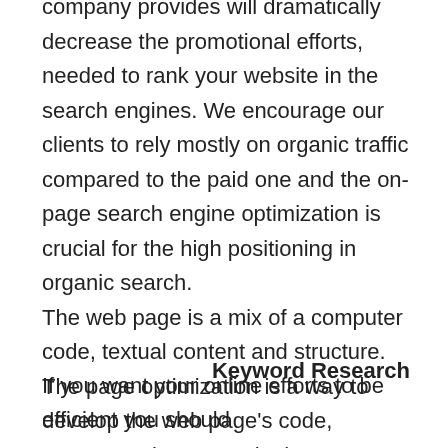company provides will dramatically decrease the promotional efforts, needed to rank your website in the search engines. We encourage our clients to rely mostly on organic traffic compared to the paid one and the on-page search engine optimization is crucial for the high positioning in organic search. The web page is a mix of a computer code, textual content and structure. The page optimization is a way to develop the web page's code, content and structure in the most friendly manner for the search engines and thus to ensure its high ranking and top positioning.
Keyword Research
If you want your online efforts to be efficient you should